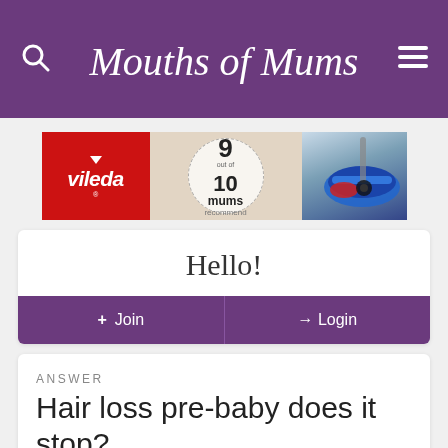Mouths of Mums
[Figure (photo): Vileda advertisement banner showing red Vileda logo, circular badge reading '9 out of 10 mums recommend', and a blue mop head on wooden floor background]
Hello!
+ Join
Login
ANSWER
Hair loss pre-baby does it stop?